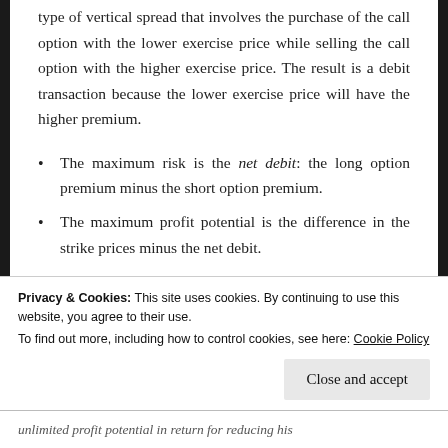type of vertical spread that involves the purchase of the call option with the lower exercise price while selling the call option with the higher exercise price. The result is a debit transaction because the lower exercise price will have the higher premium.
The maximum risk is the net debit: the long option premium minus the short option premium.
The maximum profit potential is the difference in the strike prices minus the net debit.
The breakeven is equal to the lower strike
Privacy & Cookies: This site uses cookies. By continuing to use this website, you agree to their use.
To find out more, including how to control cookies, see here: Cookie Policy
Close and accept
unlimited profit potential in return for reducing his